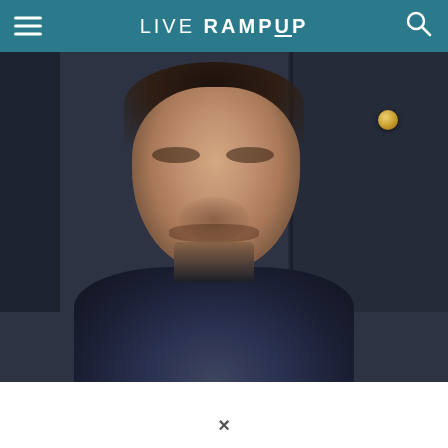LIVE RAMP UP
[Figure (photo): Portrait photo of a man with dark hair, smiling, wearing a dark shirt, in front of dark navy cabinet background with gold hardware]
×